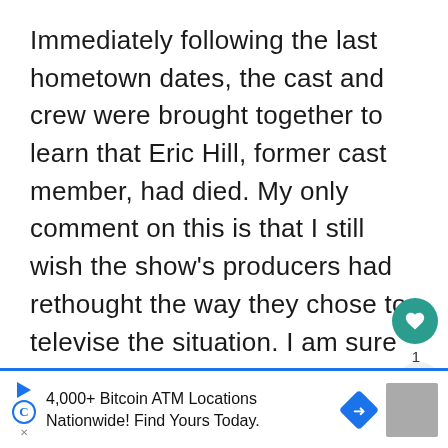Immediately following the last hometown dates, the cast and crew were brought together to learn that Eric Hill, former cast member, had died. My only comment on this is that I still wish the show's producers had rethought the way they chose to televise the situation. I am sure they have their reasons, but a message from Eric's family and friends would have been a nice tribute.
[Figure (infographic): Social interaction buttons: heart/like button with teal background, count label '1', and share button]
[Figure (infographic): What's Next promo thumbnail for The Bachelorette...]
[Figure (infographic): Advertisement banner: 4,000+ Bitcoin ATM Locations Nationwide! Find Yours Today.]